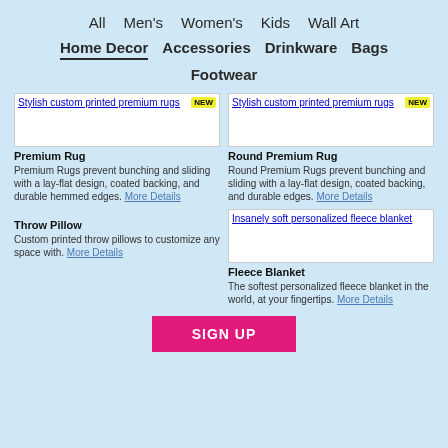All  Men's  Women's  Kids  Wall Art
Home Decor  Accessories  Drinkware  Bags
Footwear
[Figure (screenshot): Stylish custom printed premium rugs product image with NEW badge]
Premium Rug
Premium Rugs prevent bunching and sliding with a lay-flat design, coated backing, and durable hemmed edges. More Details
[Figure (screenshot): Stylish custom printed premium rugs product image with NEW badge]
Round Premium Rug
Round Premium Rugs prevent bunching and sliding with a lay-flat design, coated backing, and durable edges. More Details
Throw Pillow
Custom printed throw pillows to customize any space with. More Details
[Figure (screenshot): Insanely soft personalized fleece blanket product image]
Fleece Blanket
The softest personalized fleece blanket in the world, at your fingertips. More Details
SIGN UP